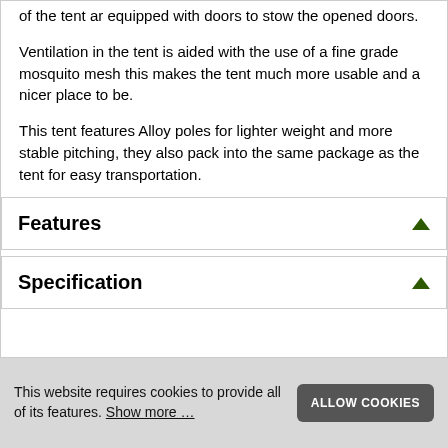of the tent ar equipped with doors to stow the opened doors.
Ventilation in the tent is aided with the use of a fine grade mosquito mesh this makes the tent much more usable and a nicer place to be.
This tent features Alloy poles for lighter weight and more stable pitching, they also pack into the same package as the tent for easy transportation.
Features
Specification
This website requires cookies to provide all of its features. Show more …